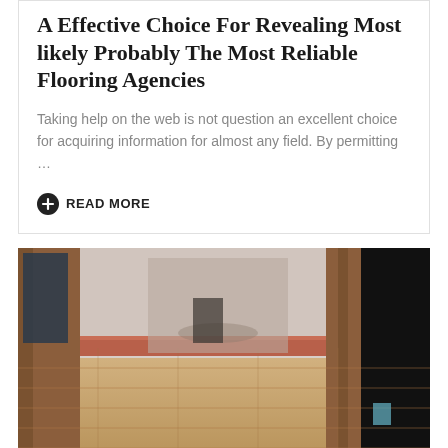A Effective Choice For Revealing Most likely Probably The Most Reliable Flooring Agencies
Taking help on the web is not question an excellent choice for acquiring information for almost any field. By permitting …
READ MORE
[Figure (photo): Interior hallway with warm wood flooring, wooden door frames and trim, white baseboard, showing rooms in the background.]